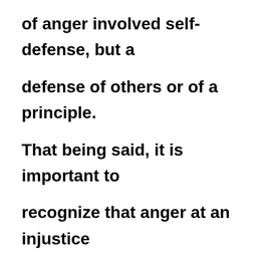of anger involved self-defense, but a defense of others or of a principle. That being said, it is important to recognize that anger at an injustice inflicted against oneself is also appropriate. Anger has been said to be a warning flag—it alerts us to those times when others are attempting to or have violated our boundaries. God cares for